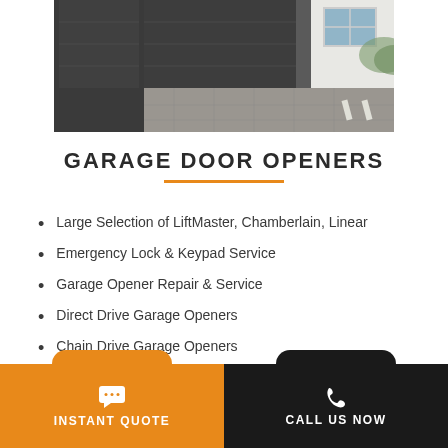[Figure (photo): A modern garage with a dark gray/charcoal colored garage door on a cobblestone driveway]
GARAGE DOOR OPENERS
Large Selection of LiftMaster, Chamberlain, Linear
Emergency Lock & Keypad Service
Garage Opener Repair & Service
Direct Drive Garage Openers
Chain Drive Garage Openers
Belt Drive Garage Openers
Liftmaster Remote Controls & Accessories
INSTANT QUOTE
CALL US NOW